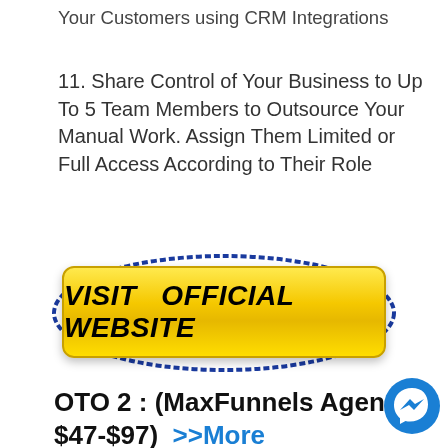Your Customers using CRM Integrations
11. Share Control of Your Business to Up To 5 Team Members to Outsource Your Manual Work. Assign Them Limited or Full Access According to Their Role
[Figure (other): Yellow button with text VISIT OFFICIAL WEBSITE surrounded by a blue oval border]
OTO 2 : (MaxFunnels Agency – $47-$97)  >>More